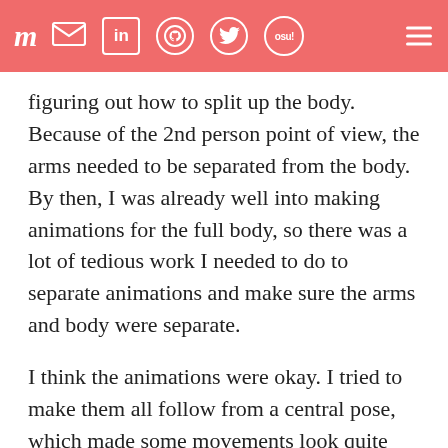m [mail] [in] [github] [twitter] [osu!] [menu]
figuring out how to split up the body. Because of the 2nd person point of view, the arms needed to be separated from the body. By then, I was already well into making animations for the full body, so there was a lot of tedious work I needed to do to separate animations and make sure the arms and body were separate.
I think the animations were okay. I tried to make them all follow from a central pose, which made some movements look quite awkward. I'm almost certain, however, I did something very technically wrong somewhere down the line because my animations looked like something